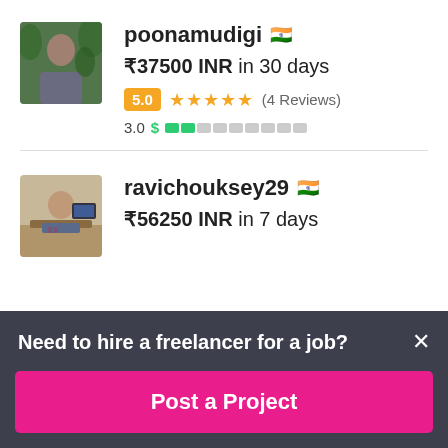[Figure (photo): Profile photo of freelancer poonamudigi - person standing outdoors against green background]
poonamudigi 🇮🇳
₹37500 INR in 30 days
5.0 ★★★★★ (4 Reviews)
3.0 $ [completion bar]
[Figure (photo): Profile photo of freelancer ravichouksey29 - person sitting at desk]
ravichouksey29 🇮🇳
₹56250 INR in 7 days
Need to hire a freelancer for a job?
Post a Project